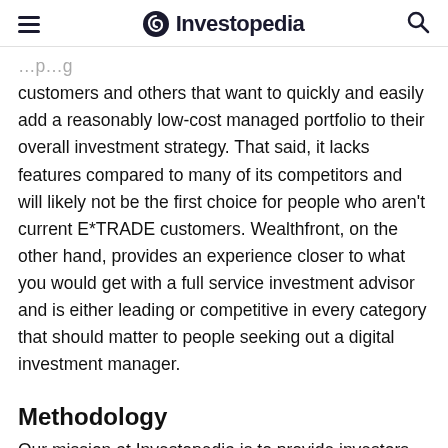Investopedia
customers and others that want to quickly and easily add a reasonably low-cost managed portfolio to their overall investment strategy. That said, it lacks features compared to many of its competitors and will likely not be the first choice for people who aren't current E*TRADE customers. Wealthfront, on the other hand, provides an experience closer to what you would get with a full service investment advisor and is either leading or competitive in every category that should matter to people seeking out a digital investment manager.
Methodology
Our mission at Investopedia is to provide investors with